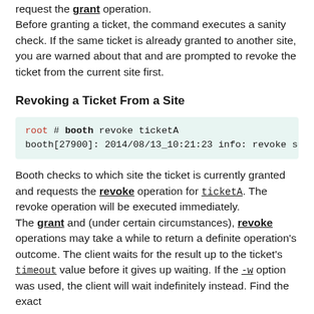request the grant operation.
Before granting a ticket, the command executes a sanity check. If the same ticket is already granted to another site, you are warned about that and are prompted to revoke the ticket from the current site first.
Revoking a Ticket From a Site
root # booth revoke ticketA
booth[27900]: 2014/08/13_10:21:23 info: revoke succee
Booth checks to which site the ticket is currently granted and requests the revoke operation for ticketA. The revoke operation will be executed immediately.
The grant and (under certain circumstances), revoke operations may take a while to return a definite operation's outcome. The client waits for the result up to the ticket's timeout value before it gives up waiting. If the -w option was used, the client will wait indefinitely instead. Find the exact